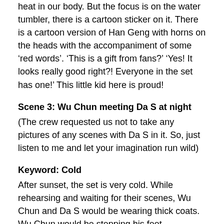heat in our body. But the focus is on the water tumbler, there is a cartoon sticker on it. There is a cartoon version of Han Geng with horns on the heads with the accompaniment of some ‘red words’. ‘This is a gift from fans?’ ‘Yes! It looks really good right?! Everyone in the set has one!’ This little kid here is proud!
Scene 3: Wu Chun meeting Da S at night
(The crew requested us not to take any pictures of any scenes with Da S in it. So, just listen to me and let your imagination run wild)
Keyword: Cold
After sunset, the set is very cold. While rehearsing and waiting for their scenes, Wu Chun and Da S would be wearing thick coats. Wu Chun would be stepping his feet repeatedly on the ground, and while changing the camera